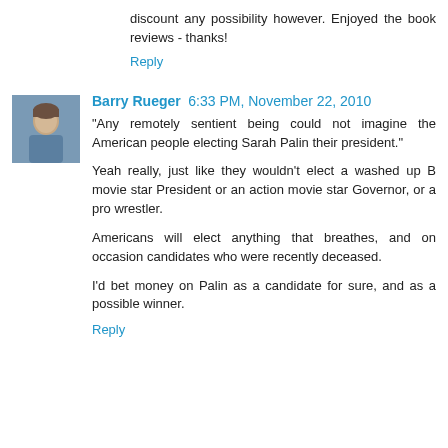discount any possibility however. Enjoyed the book reviews - thanks!
Reply
[Figure (photo): Avatar photo of Barry Rueger, a man in a blue shirt]
Barry Rueger  6:33 PM, November 22, 2010
"Any remotely sentient being could not imagine the American people electing Sarah Palin their president."

Yeah really, just like they wouldn't elect a washed up B movie star President or an action movie star Governor, or a pro wrestler.

Americans will elect anything that breathes, and on occasion candidates who were recently deceased.

I'd bet money on Palin as a candidate for sure, and as a possible winner.
Reply